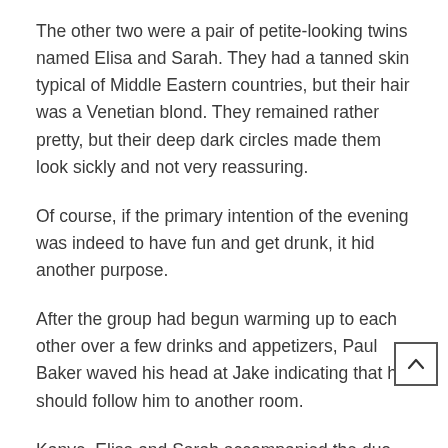The other two were a pair of petite-looking twins named Elisa and Sarah. They had a tanned skin typical of Middle Eastern countries, but their hair was a Venetian blond. They remained rather pretty, but their deep dark circles made them look sickly and not very reassuring.
Of course, if the primary intention of the evening was indeed to have fun and get drunk, it hid another purpose.
After the group had begun warming up to each other over a few drinks and appetizers, Paul Baker waved his head at Jake indicating that he should follow him to another room.
Kanye, Elisa and Sarah accompanied the duo, claiming they wanted to help in the kitchen. Paul had actually planned it, putting pizza in the oven, which gave him